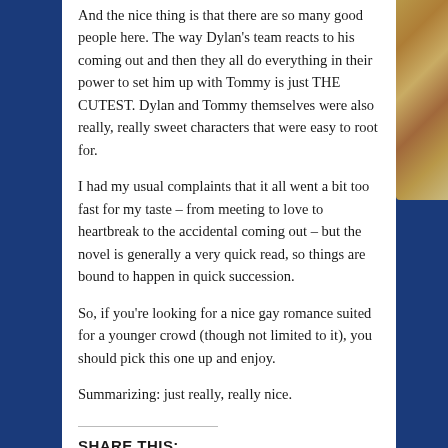And the nice thing is that there are so many good people here. The way Dylan's team reacts to his coming out and then they all do everything in their power to set him up with Tommy is just THE CUTEST. Dylan and Tommy themselves were also really, really sweet characters that were easy to root for.
I had my usual complaints that it all went a bit too fast for my taste – from meeting to love to heartbreak to the accidental coming out – but the novel is generally a very quick read, so things are bound to happen in quick succession.
So, if you're looking for a nice gay romance suited for a younger crowd (though not limited to it), you should pick this one up and enjoy.
Summarizing: just really, really nice.
SHARE THIS: